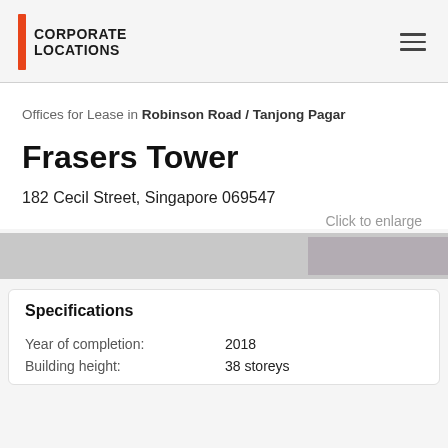CORPORATE LOCATIONS
Offices for Lease in Robinson Road / Tanjong Pagar
Frasers Tower
182 Cecil Street, Singapore 069547
Click to enlarge
[Figure (photo): Partially visible building image placeholder, greyed out]
Specifications
|  |  |
| --- | --- |
| Year of completion: | 2018 |
| Building height: | 38 storeys |